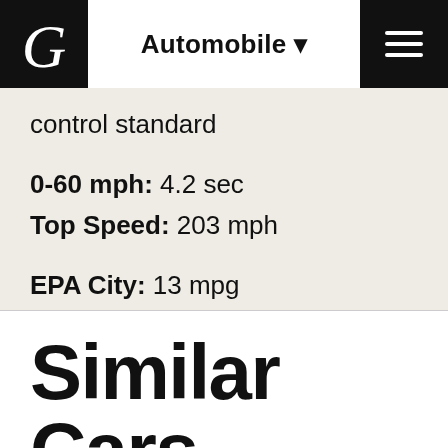Automobile
control standard
0-60 mph: 4.2 sec
Top Speed: 203 mph
EPA City: 13 mpg
EPA Highway: 21 mpg
Seating Capacity: 4
Safety: Not Rated
Similar Cars